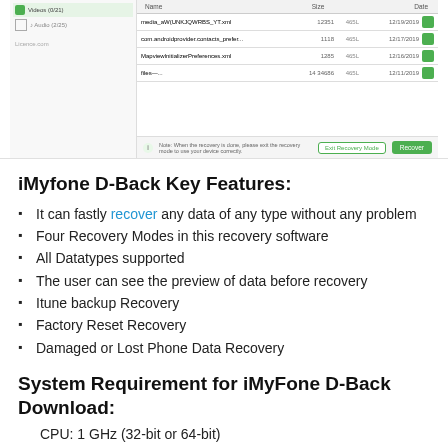[Figure (screenshot): Screenshot of iMyfone D-Back recovery software showing a list of recoverable files with filenames, sizes, and dates. Bottom bar shows note about recovery mode with 'Exit Recovery Mode' and 'Recover' buttons.]
iMyfone D-Back Key Features:
It can fastly recover any data of any type without any problem
Four Recovery Modes in this recovery software
All Datatypes supported
The user can see the preview of data before recovery
Itune backup Recovery
Factory Reset Recovery
Damaged or Lost Phone Data Recovery
System Requirement for iMyFone D-Back Download:
CPU: 1 GHz (32-bit or 64-bit)